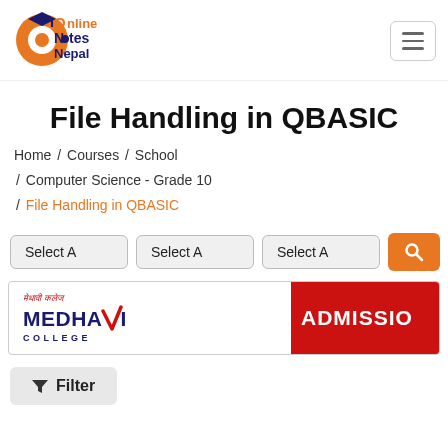[Figure (logo): Online Notes Nepal logo — orange circular icon with graduation cap, text 'Online Notes Nepal' in orange and dark blue]
[Figure (other): Hamburger menu icon button (three horizontal lines) in a rounded rectangle border]
File Handling in QBASIC
Home / Courses / School / Computer Science - Grade 10 / File Handling in QBASIC
Select A  Select A  Select A  [search button]
[Figure (other): Medhavi College advertisement banner with college logo on the left and red 'ADMISSIO' text on the right]
Filter